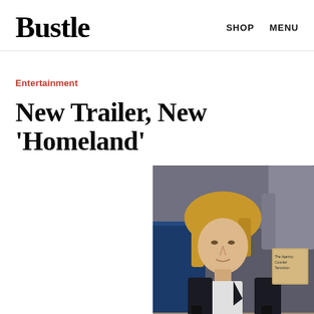Bustle   SHOP   MENU
Entertainment
New Trailer, New 'Homeland'
[Figure (photo): A blonde woman in a dark blazer sitting at a desk in what appears to be an office or operations room, looking intently to the side. Another figure stands in the background.]
By  Tanya Ghahremani